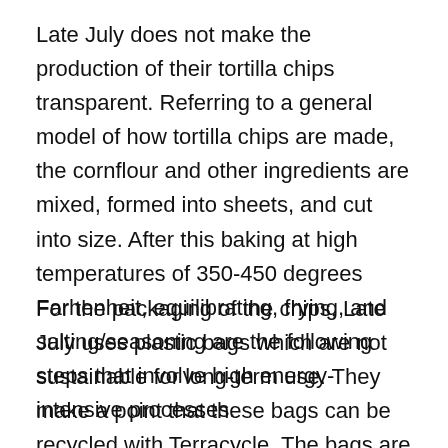Late July does not make the production of their tortilla chips transparent. Referring to a general model of how tortilla chips are made, the cornflour and other ingredients are mixed, formed into sheets, and cut into size. After this baking at high temperatures of 350-450 degrees Farhenheit, equilibrating, frying, and salting/seasoning are the following steps that involve high energy-intensive processes.
For the packaging of the chips, Late July uses plastic bags which are not sustainable for long-term use. They make a point that these bags can be recycled with Terracycle. The bags are then